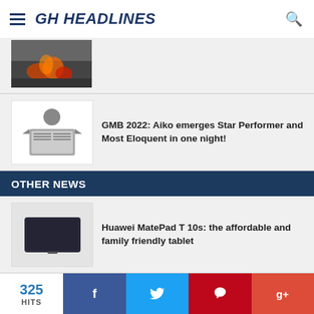GH HEADLINES
[Figure (photo): Partial article image at top, appears to show fire/burning scene]
[Figure (illustration): News/reading icon placeholder image]
GMB 2022: Aiko emerges Star Performer and Most Eloquent in one night!
OTHER NEWS
[Figure (photo): Huawei MatePad T10s tablet device]
Huawei MatePad T 10s: the affordable and family friendly tablet
[Figure (photo): Bosomtwe chiefs group photo with colorful traditional attire]
Bosomtwe chiefs honour Education Minister for developmental projects
325 HITS